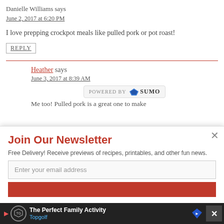Danielle Williams says
June 2, 2017 at 6:20 PM
I love prepping crockpot meals like pulled pork or pot roast!
REPLY
Heather says
June 3, 2017 at 8:39 AM
[Figure (screenshot): POWERED BY SUMO logo/badge]
Me too! Pulled pork is a great one to make
Join Our Newsletter
Free Delivery! Receive previews of recipes, printables, and other fun news.
Enter your email address
[Figure (screenshot): Advertisement: The Perfect Family Activity - Topgolf]